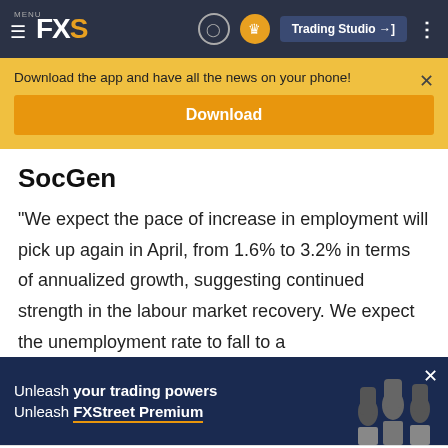MENU FXS | Trading Studio
Download the app and have all the news on your phone!
Download
SocGen
"We expect the pace of increase in employment will pick up again in April, from 1.6% to 3.2% in terms of annualized growth, suggesting continued strength in the labour market recovery. We expect the unemployment rate to fall to a
[Figure (infographic): Advertisement banner: dark blue background with raised fists image. Text reads: 'Unleash your trading powers Unleash FXStreet Premium']
©2022 "FXStreet" All Rights Reserved | Disclaimer